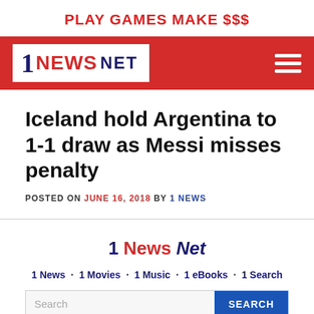PLAY GAMES MAKE $$$
[Figure (logo): 1 News Net logo on red header bar with hamburger menu icon]
Iceland hold Argentina to 1-1 draw as Messi misses penalty
POSTED ON JUNE 16, 2018 BY 1 NEWS
[Figure (logo): 1 News Net sidebar logo text]
1 News · 1 Movies · 1 Music · 1 eBooks · 1 Search
Search ... SEARCH